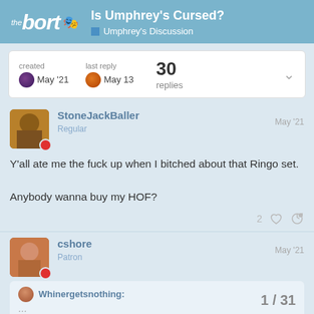Is Umphrey's Cursed? — Umphrey's Discussion
created May '21 | last reply May 13 | 30 replies
StoneJackBaller Regular May '21
Y'all ate me the fuck up when I bitched about that Ringo set.
Anybody wanna buy my HOF? 2 likes
cshore Patron May '21
Whinergetsnothing: 1/31